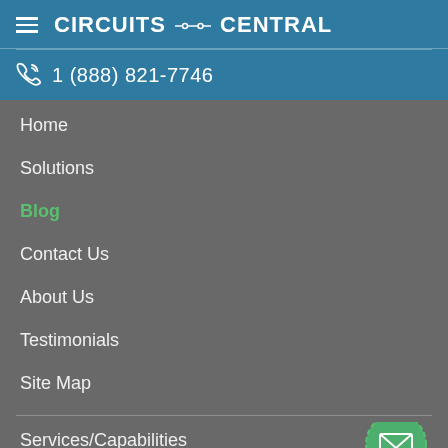CIRCUITS CENTRAL
1 (888) 821-7746
Home
Solutions
Blog
Contact Us
About Us
Testimonials
Site Map
Services/Capabilities
Printed Circuit Board Assembly (PCBA)